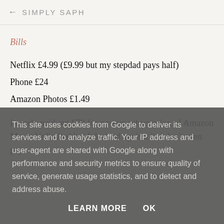← SIMPLY SAPH
Bills
Netflix £4.99 (£9.99 but my stepdad pays half)
Phone £24
Amazon Photos £1.49
I nearly paid out £79 for a years subscription of Amazon Music Unlimited but I decided against it. I don't even pay
This site uses cookies from Google to deliver its services and to analyze traffic. Your IP address and user-agent are shared with Google along with performance and security metrics to ensure quality of service, generate usage statistics, and to detect and address abuse.
LEARN MORE    OK